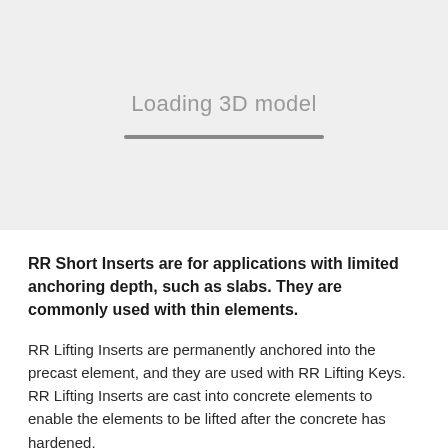[Figure (other): 3D model loading screen placeholder with gray background, text 'Loading 3D model' and a horizontal progress bar]
RR Short Inserts are for applications with limited anchoring depth, such as slabs. They are commonly used with thin elements.
RR Lifting Inserts are permanently anchored into the precast element, and they are used with RR Lifting Keys. RR Lifting Inserts are cast into concrete elements to enable the elements to be lifted after the concrete has hardened.